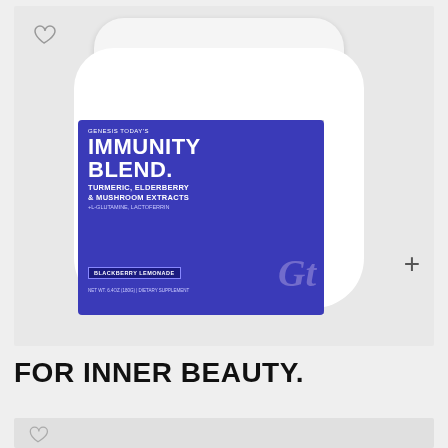[Figure (photo): White cylindrical supplement tub with blue label reading 'IMMUNITY BLEND.' by Genesis Today's, with turmeric, elderberry & mushroom extracts, blackberry lemonade flavor. Heart (wishlist) icon in top-left corner, plus (+) icon in bottom-right of the image frame. Background is light gray.]
FOR INNER BEAUTY.
[Figure (photo): Partial view of a second product card with light gray background and heart/wishlist icon, cut off at bottom of page.]